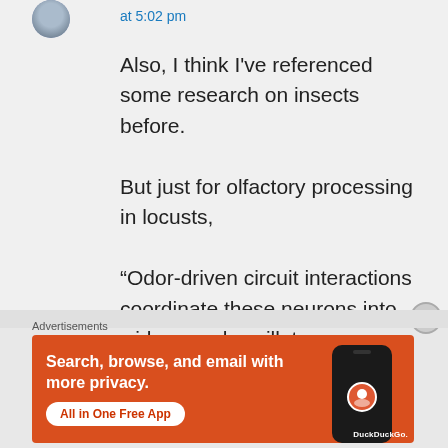at 5:02 pm
Also, I think I've referenced some research on insects before.

But just for olfactory processing in locusts,

“Odor-driven circuit interactions coordinate these neurons into widespread oscillatory synchrony [1]
Advertisements
[Figure (infographic): DuckDuckGo advertisement banner: orange background with white bold text 'Search, browse, and email with more privacy.' and a white button labeled 'All in One Free App'. Right side shows a dark smartphone with DuckDuckGo logo and brand name.]